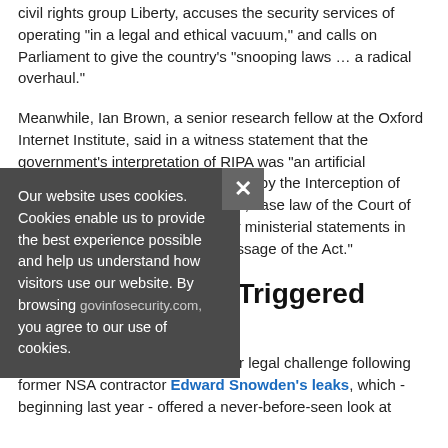civil rights group Liberty, accuses the security services of operating "in a legal and ethical vacuum," and calls on Parliament to give the country's "snooping laws … a radical overhaul."
Meanwhile, Ian Brown, a senior research fellow at the Oxford Internet Institute, said in a witness statement that the government's interpretation of RIPA was "an artificial construction that could ... supported by the Interception of Communications Code of Practice, case law of the Court of Justice of the European Union, or ministerial statements in the House of Lords during the passage of the Act."
Snowden Leaks Triggered Case
The privacy groups launched their legal challenge following former NSA contractor Edward Snowden's leaks, which - beginning last year - offered a never-before-seen look at
Our website uses cookies. Cookies enable us to provide the best experience possible and help us understand how visitors use our website. By browsing govinfosecurity.com, you agree to our use of cookies.